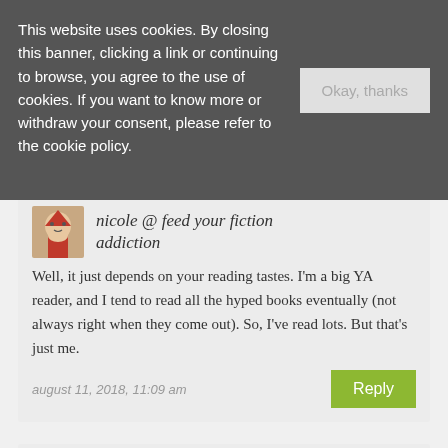This website uses cookies. By closing this banner, clicking a link or continuing to browse, you agree to the use of cookies. If you want to know more or withdraw your consent, please refer to the cookie policy.
Okay, thanks
nicole @ feed your fiction addiction
Well, it just depends on your reading tastes. I'm a big YA reader, and I tend to read all the hyped books eventually (not always right when they come out). So, I've read lots. But that's just me.
august 11, 2018, 11:09 am
Reply
jennilyn v.